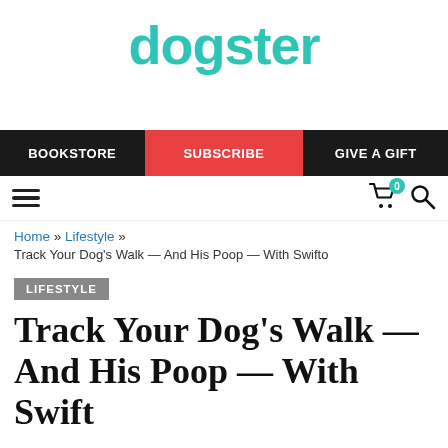[Figure (logo): Dogster logo in teal/turquoise color]
BOOKSTORE  SUBSCRIBE  GIVE A GIFT
Home » Lifestyle »
Track Your Dog's Walk — And His Poop — With Swifto
LIFESTYLE
Track Your Dog's Walk — And His Poop — With Swift